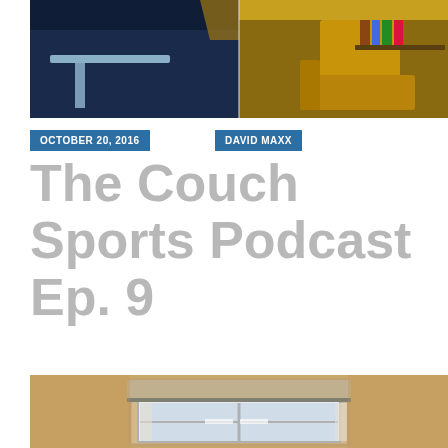[Figure (photo): Interior room photo showing a dark blue wall with a light-colored table on the left, and a yellow/orange chair with books in background on the right]
OCTOBER 20, 2016
DAVID MAXX
The Couch Sports Podcast Ep. 9
[Figure (photo): Interior room photo showing a window with a roller blind/shade on a tan/beige wall]